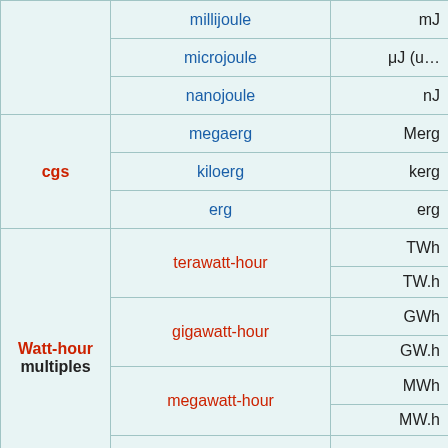| Category | Name | Symbol |
| --- | --- | --- |
|  | millijoule | mJ |
|  | microjoule | μJ (u… |
|  | nanojoule | nJ |
| cgs | megaerg | Merg |
|  | kiloerg | kerg |
|  | erg | erg |
| Watt-hour multiples | terawatt-hour | TWh |
|  |  | TW.h |
|  | gigawatt-hour | GWh |
|  |  | GW.h |
|  | megawatt-hour | MWh |
|  |  | MW.h |
|  | kilowatt-hour | kWh |